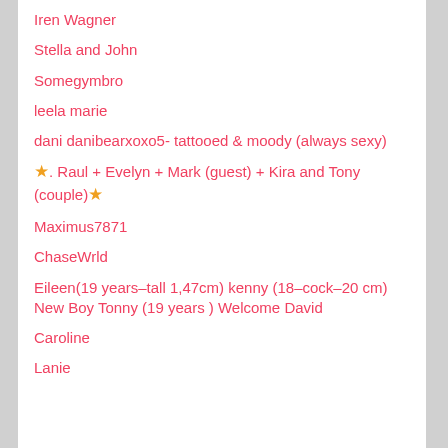Iren Wagner
Stella and John
Somegymbro
leela marie
dani danibearxoxo5- tattooed & moody (always sexy)
★. Raul + Evelyn + Mark (guest) + Kira and Tony (couple)★
Maximus7871
ChaseWrld
Eileen(19 years-tall 1,47cm) kenny (18-cock-20 cm) New Boy Tonny (19 years ) Welcome David
Caroline
Lanie